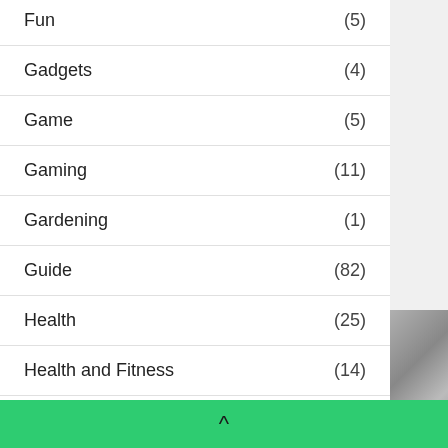Fun (5)
Gadgets (4)
Game (5)
Gaming (11)
Gardening (1)
Guide (82)
Health (25)
Health and Fitness (14)
HGH Supplements (1)
Home (6)
^